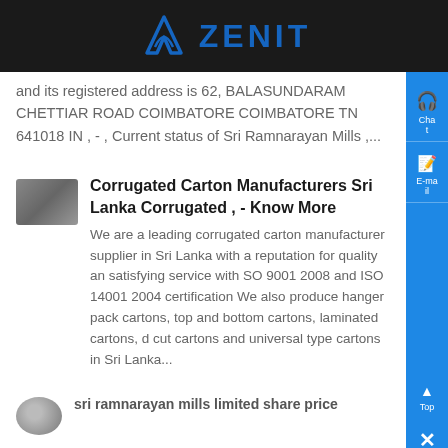ZENIT
and its registered address is 62, BALASUNDARAM CHETTIAR ROAD COIMBATORE COIMBATORE TN 641018 IN , - , Current status of Sri Ramnarayan Mills ,...
Corrugated Carton Manufacturers Sri Lanka Corrugated , - Know More
We are a leading corrugated carton manufacturer supplier in Sri Lanka with a reputation for quality and satisfying service with SO 9001 2008 and ISO 14001 2004 certification We also produce hanger pack cartons, top and bottom cartons, laminated cartons, die cut cartons and universal type cartons in Sri Lanka...
sri ramnarayan mills limited share price